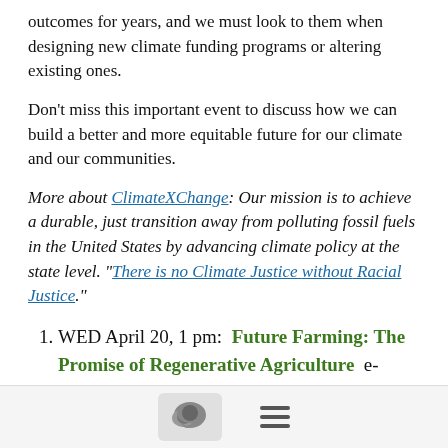outcomes for years, and we must look to them when designing new climate funding programs or altering existing ones.
Don’t miss this important event to discuss how we can build a better and more equitable future for our climate and our communities.
More about ClimateXChange: Our mission is to achieve a durable, just transition away from polluting fossil fuels in the United States by advancing climate policy at the state level. “There is no Climate Justice without Racial Justice.”
WED April 20, 1 pm: Future Farming: The Promise of Regenerative Agriculture e-Cornell Register Now
The global agriculture and food system is responsible for nearly half of all human-produced greenhouse gas emissions — more than the entire transportation sector. Yet by 2050, the world’s population is